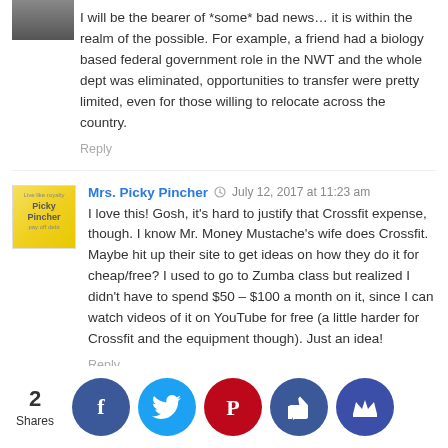I will be the bearer of *some* bad news... it is within the realm of the possible. For example, a friend had a biology based federal government role in the NWT and the whole dept was eliminated, opportunities to transfer were pretty limited, even for those willing to relocate across the country.
Reply
Mrs. Picky Pincher  July 12, 2017 at 11:23 am
I love this! Gosh, it's hard to justify that Crossfit expense, though. I know Mr. Money Mustache's wife does Crossfit. Maybe hit up their site to get ideas on how they do it for cheap/free? I used to go to Zumba class but realized I didn't have to spend $50 – $100 a month on it, since I can watch videos of it on YouTube for free (a little harder for Crossfit and the equipment though). Just an idea!
Reply
Glenna  July 12, 2017 at 11:26 am
I don't have anything to add to the very good financial commentary, but not to say the yes it is absolutely adora...
2 Shares